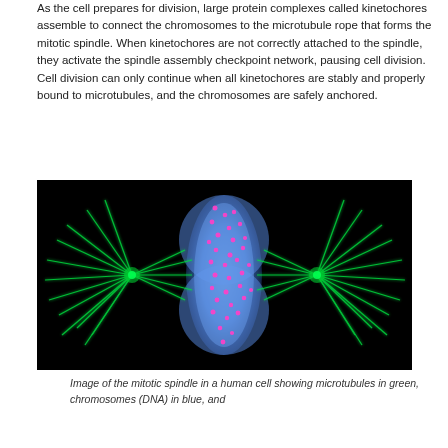As the cell prepares for division, large protein complexes called kinetochores assemble to connect the chromosomes to the microtubule rope that forms the mitotic spindle. When kinetochores are not correctly attached to the spindle, they activate the spindle assembly checkpoint network, pausing cell division. Cell division can only continue when all kinetochores are stably and properly bound to microtubules, and the chromosomes are safely anchored.
[Figure (photo): Fluorescence microscopy image of the mitotic spindle in a human cell. Microtubules shown in green forming a spindle shape with aster-like projections on each side, chromosomes (DNA) shown in blue in the center, and kinetochores shown as pink/magenta dots scattered across the blue chromosomal region. Background is black.]
Image of the mitotic spindle in a human cell showing microtubules in green, chromosomes (DNA) in blue, and